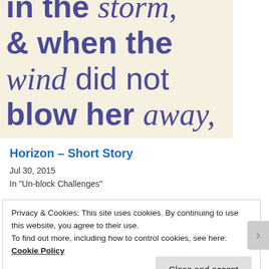[Figure (photo): Close-up photo of printed text on cream/beige paper reading: 'in the storm, & when the wind did not blow her away, she adjusted' in dark purple/navy lettering mixing bold sans-serif and italic serif styles]
Horizon – Short Story
Jul 30, 2015
In "Un-block Challenges"
Privacy & Cookies: This site uses cookies. By continuing to use this website, you agree to their use.
To find out more, including how to control cookies, see here:
Cookie Policy
Close and accept